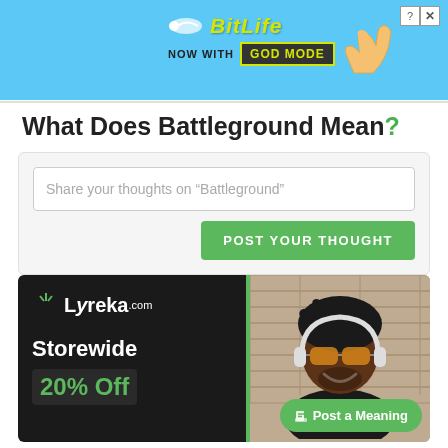[Figure (other): BitLife advertisement banner with 'NOW WITH GOD MODE' text on blue background with hand pointing gesture]
What Does Battleground Mean?
Share your thoughts on “Battleground”
POST YOUR THOUGHT
[Figure (other): Lyreka.com advertisement showing Storewide 20% Off sale with a photo of a smiling man wearing sunglasses and headphones against a brick wall]